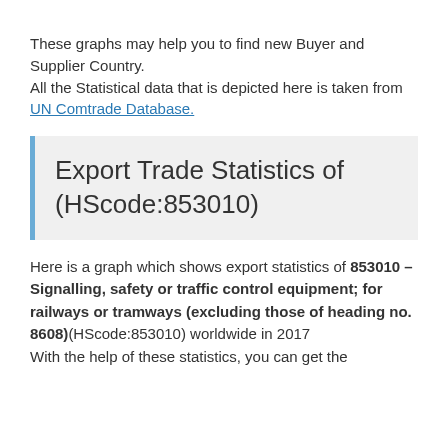These graphs may help you to find new Buyer and Supplier Country.
All the Statistical data that is depicted here is taken from UN Comtrade Database.
Export Trade Statistics of (HScode:853010)
Here is a graph which shows export statistics of 853010 – Signalling, safety or traffic control equipment; for railways or tramways (excluding those of heading no. 8608)(HScode:853010) worldwide in 2017
With the help of these statistics, you can get the